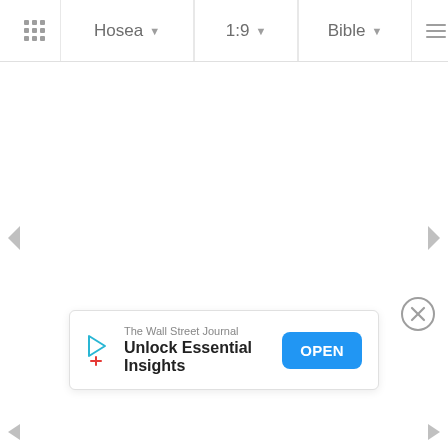Hosea 1:9 Bible — navigation bar with grid icon, book selector, verse selector, Bible translation selector, and menu icon
[Figure (screenshot): Left navigation arrow pointing left, gray color, centered vertically on the main content area]
[Figure (screenshot): Right navigation arrow pointing right, gray color, centered vertically on the main content area]
[Figure (screenshot): Close (X) button, circular with gray border, positioned above the advertisement banner at lower right]
[Figure (screenshot): Advertisement banner for The Wall Street Journal: 'Unlock Essential Insights' with a blue OPEN button and WSJ play logo]
[Figure (screenshot): Bottom left navigation arrow pointing left, gray color]
[Figure (screenshot): Bottom right navigation arrow pointing right, gray color]